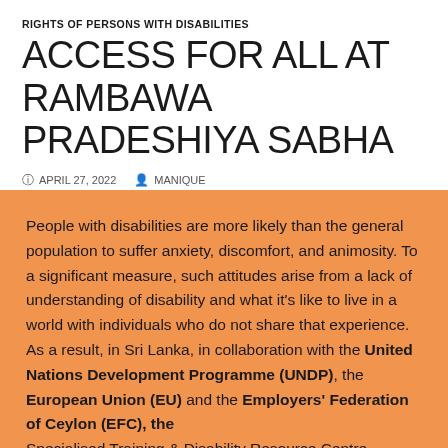RIGHTS OF PERSONS WITH DISABILITIES
ACCESS FOR ALL AT RAMBAWA PRADESHIYA SABHA
⊙ APRIL 27, 2022   👤 MANIQUE
People with disabilities are more likely than the general population to suffer anxiety, discomfort, and animosity. To a significant measure, such attitudes arise from a lack of understanding of disability and what it's like to live in a world with individuals who do not share that experience. As a result, in Sri Lanka, in collaboration with the United Nations Development Programme (UNDP), the European Union (EU) and the Employers' Federation of Ceylon (EFC), the Specialised Training & Disability Resource Centre